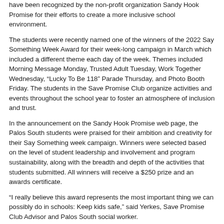have been recognized by the non-profit organization Sandy Hook Promise for their efforts to create a more inclusive school environment.
The students were recently named one of the winners of the 2022 Say Something Week Award for their week-long campaign in March which included a different theme each day of the week. Themes included Morning Message Monday, Trusted Adult Tuesday, Work Together Wednesday, “Lucky To Be 118” Parade Thursday, and Photo Booth Friday. The students in the Save Promise Club organize activities and events throughout the school year to foster an atmosphere of inclusion and trust.
In the announcement on the Sandy Hook Promise web page, the Palos South students were praised for their ambition and creativity for their Say Something week campaign. Winners were selected based on the level of student leadership and involvement and program sustainability, along with the breadth and depth of the activities that students submitted. All winners will receive a $250 prize and an awards certificate.
“I really believe this award represents the most important thing we can possibly do in schools: Keep kids safe,” said Yerkes, Save Promise Club Advisor and Palos South social worker.